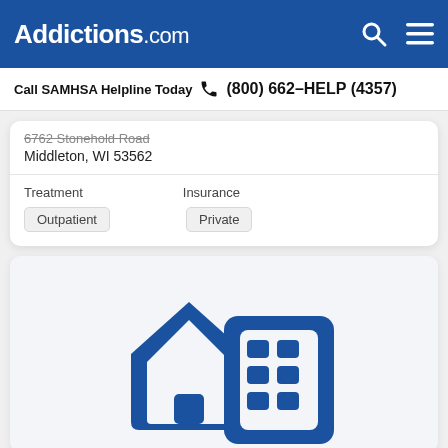Addictions.com
Call SAMHSA Helpline Today  (800) 662-HELP (4357)
6762 Stonehold Road
Middleton, WI 53562
| Treatment | Insurance |
| --- | --- |
| Outpatient | Private |
[Figure (illustration): Blue icon of a house and a building/office block side by side, representing residential and outpatient treatment facilities]